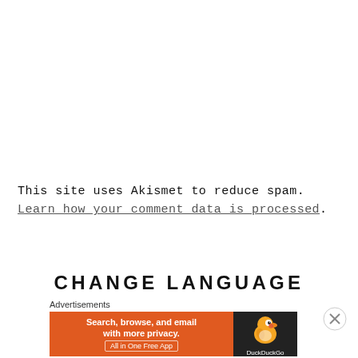This site uses Akismet to reduce spam. Learn how your comment data is processed.
CHANGE LANGUAGE
Advertisements
[Figure (other): DuckDuckGo advertisement banner: orange left panel with text 'Search, browse, and email with more privacy. All in One Free App' and dark right panel with DuckDuckGo duck logo and brand name.]